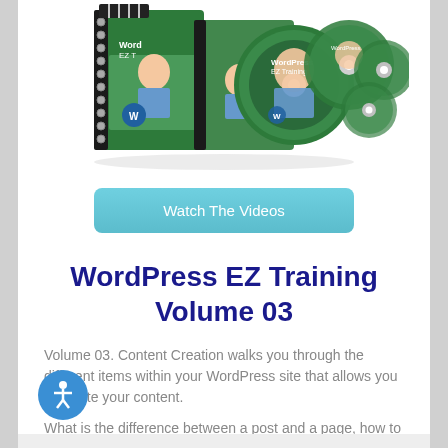[Figure (photo): WordPress EZ Training product bundle showing spiral-bound book and multiple CDs/DVDs with a man on the cover]
Watch The Videos
WordPress EZ Training Volume 03
Volume 03. Content Creation walks you through the different items within your WordPress site that allows you to create your content.
What is the difference between a post and a page, how to use the Media Manager and much more.